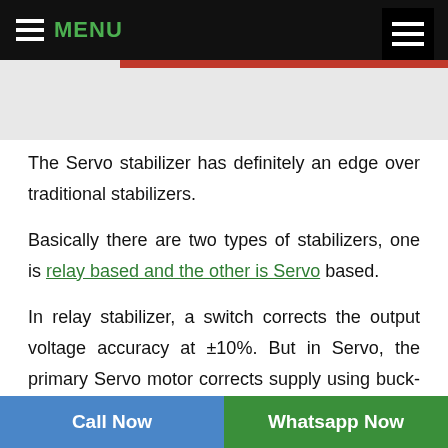MENU
The Servo stabilizer has definitely an edge over traditional stabilizers.
Basically there are two types of stabilizers, one is relay based and the other is Servo based.
In relay stabilizer, a switch corrects the output voltage accuracy at ±10%. But in Servo, the primary Servo motor corrects supply using buck-boost function. This type of stabilizer is beneficial for high output voltage accuracy. It provides ±1 %